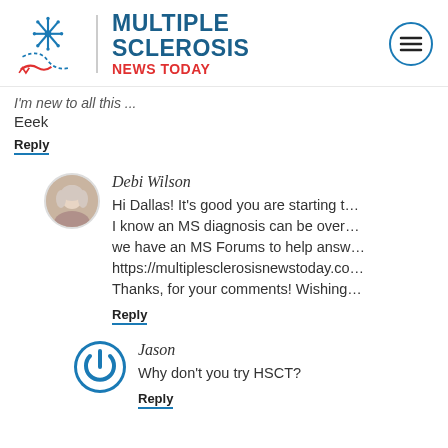[Figure (logo): Multiple Sclerosis News Today logo with snowflake icon and hamburger menu]
I'm new to all this ...
Eeek
Reply
Debi Wilson
Hi Dallas! It's good you are starting t... I know an MS diagnosis can be over... we have an MS Forums to help answ... https://multiplesclerosisnewstoday.co... Thanks, for your comments! Wishing...
Reply
Jason
Why don't you try HSCT?
Reply